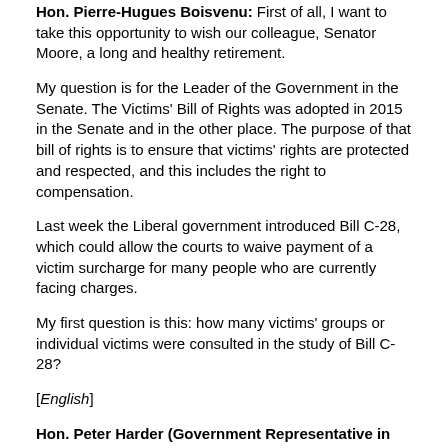Hon. Pierre-Hugues Boisvenu: First of all, I want to take this opportunity to wish our colleague, Senator Moore, a long and healthy retirement.
My question is for the Leader of the Government in the Senate. The Victims' Bill of Rights was adopted in 2015 in the Senate and in the other place. The purpose of that bill of rights is to ensure that victims' rights are protected and respected, and this includes the right to compensation.
Last week the Liberal government introduced Bill C-28, which could allow the courts to waive payment of a victim surcharge for many people who are currently facing charges.
My first question is this: how many victims' groups or individual victims were consulted in the study of Bill C-28?
[English]
Hon. Peter Harder (Government Representative in the Senate): I thank the honourable senator for his question. I will take note of his precise question and respond with the information.
[Translation]
Senator Boisvenu: On another point, can the Leader of the Government tell us why Bill C-28 is going to be retroactive? It's